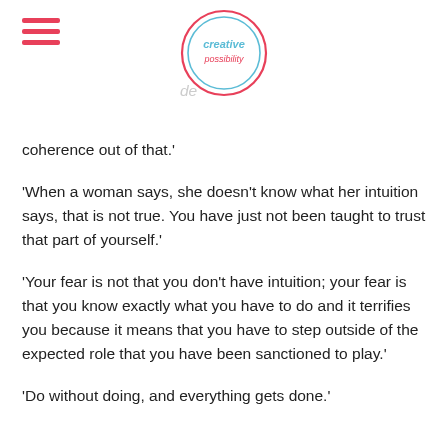creative possibility
coherence out of that.'
‘When a woman says, she doesn’t know what her intuition says, that is not true. You have just not been taught to trust that part of yourself.’
‘Your fear is not that you don’t have intuition; your fear is that you know exactly what you have to do and it terrifies you because it means that you have to step outside of the expected role that you have been sanctioned to play.’
‘Do without doing, and everything gets done.’